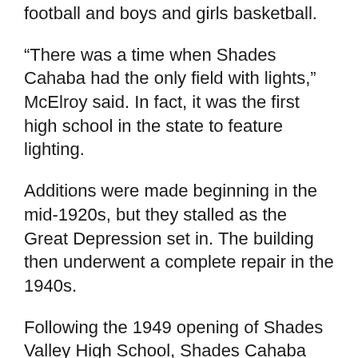The high school had a strong athletics program, offering football and boys and girls basketball.
“There was a time when Shades Cahaba had the only field with lights,” McElroy said. In fact, it was the first high school in the state to feature lighting.
Additions were made beginning in the mid-1920s, but they stalled as the Great Depression set in. The building then underwent a complete repair in the 1940s.
Following the 1949 opening of Shades Valley High School, Shades Cahaba became an elementary school.
“One of the most interesting stories Shawn is working on is about the owl,” McElroy said. The 900-pound cast-concrete statue of an owl, a symbol for learning, sits atop a central gable of the school’s front facade.